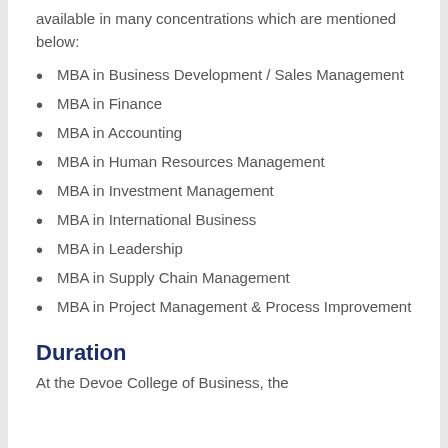available in many concentrations which are mentioned below:
MBA in Business Development / Sales Management
MBA in Finance
MBA in Accounting
MBA in Human Resources Management
MBA in Investment Management
MBA in International Business
MBA in Leadership
MBA in Supply Chain Management
MBA in Project Management & Process Improvement
Duration
At the Devoe College of Business, the